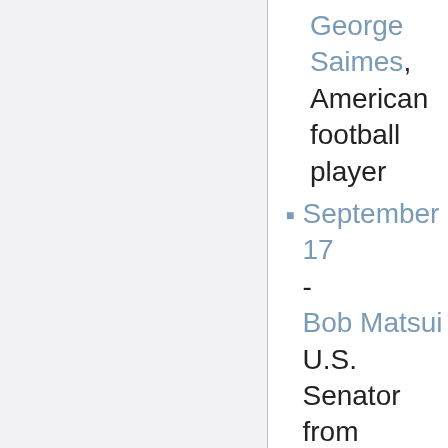George Saimes, American football player
September 17 - Bob Matsui U.S. Senator from Hawaii (d.